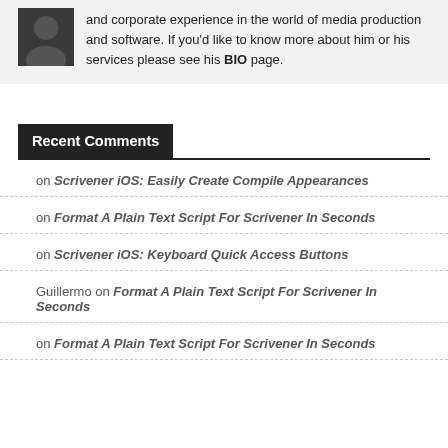and corporate experience in the world of media production and software. If you'd like to know more about him or his services please see his BIO page.
Recent Comments
on Scrivener iOS: Easily Create Compile Appearances
on Format A Plain Text Script For Scrivener In Seconds
on Scrivener iOS: Keyboard Quick Access Buttons
Guillermo on Format A Plain Text Script For Scrivener In Seconds
on Format A Plain Text Script For Scrivener In Seconds